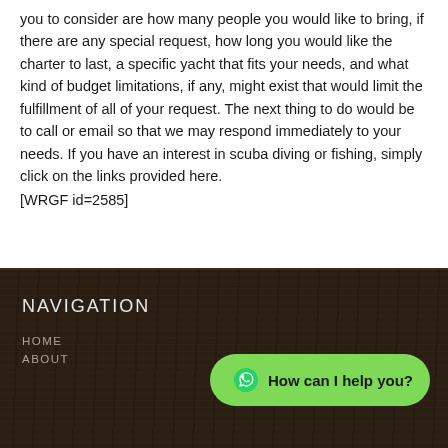you to consider are how many people you would like to bring, if there are any special request, how long you would like the charter to last, a specific yacht that fits your needs, and what kind of budget limitations, if any, might exist that would limit the fulfillment of all of your request.  The next thing to do would be to call or email so that we may respond immediately to your needs. If you have an interest in scuba diving or fishing, simply click on the links provided here.
[WRGF id=2585]
NAVIGATION
HOME
ABOUT
How can I help you?